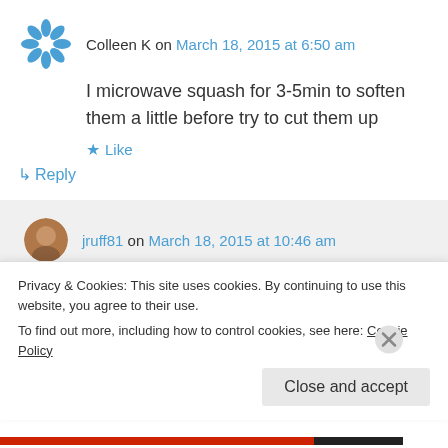Colleen K on March 18, 2015 at 6:50 am
I microwave squash for 3-5min to soften them a little before try to cut them up
★ Like
↳ Reply
jruff81 on March 18, 2015 at 10:46 am
Great idea – thanks for the tip! Every time I
Privacy & Cookies: This site uses cookies. By continuing to use this website, you agree to their use.
To find out more, including how to control cookies, see here: Cookie Policy
Close and accept